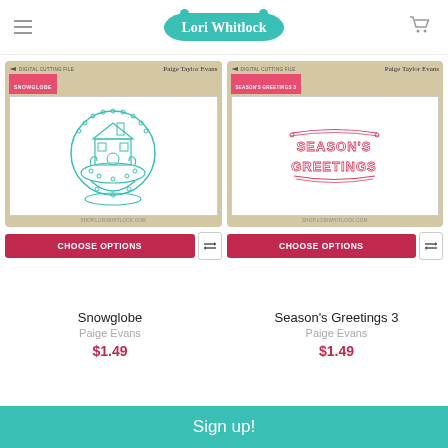Lori Whitlock
[Figure (photo): Product package for Snowglobe digital cutting file by Paige Taylor Evans, showing a teal snowglobe illustration with a house inside]
[Figure (photo): Product package for Season's Greetings 3 digital cutting file by Paige Taylor Evans, showing a red decorative Season's Greetings banner text]
CHOOSE OPTIONS
CHOOSE OPTIONS
Snowglobe
Season's Greetings 3
Paige Evans
Paige Evans
$1.49
$1.49
Sign up!